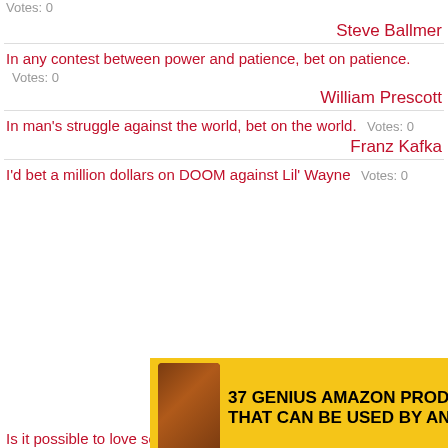Votes: 0
Steve Ballmer
In any contest between power and patience, bet on patience.  Votes: 0
William Prescott
In man's struggle against the world, bet on the world.  Votes: 0
Franz Kafka
I'd bet a million dollars on DOOM against Lil' Wayne  Votes: 0
[Figure (other): Advertisement banner: 37 Genius Amazon Products That Can Be Used By Anyone, yellow background with product image and 22 Words logo]
Mos Def
Is it possible to love someone too much? You bet.  Votes: 0